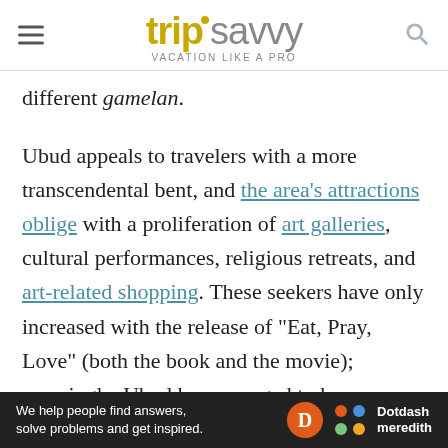tripsavvy VACATION LIKE A PRO
different gamelan.
Ubud appeals to travelers with a more transcendental bent, and the area's attractions oblige with a proliferation of art galleries, cultural performances, religious retreats, and art-related shopping. These seekers have only increased with the release of "Eat, Pray, Love" (both the book and the movie); amazingly, Ubud has managed to keep up with demand without becoming too commercialized. (That's your guide's opinion, though many old-timers might disagree.)
[Figure (logo): Dotdash Meredith advertisement banner: 'We help people find answers, solve problems and get inspired.']